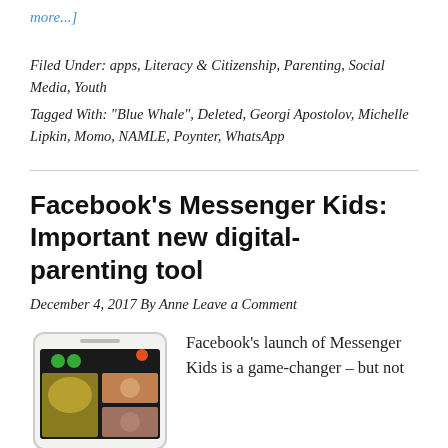more...]
Filed Under: apps, Literacy & Citizenship, Parenting, Social Media, Youth
Tagged With: "Blue Whale", Deleted, Georgi Apostolov, Michelle Lipkin, Momo, NAMLE, Poynter, WhatsApp
Facebook's Messenger Kids: Important new digital-parenting tool
December 4, 2017 By Anne Leave a Comment
[Figure (photo): Screenshot of a smartphone showing the Messenger Kids app interface with children's profile photos]
Facebook's launch of Messenger Kids is a game-changer – but not